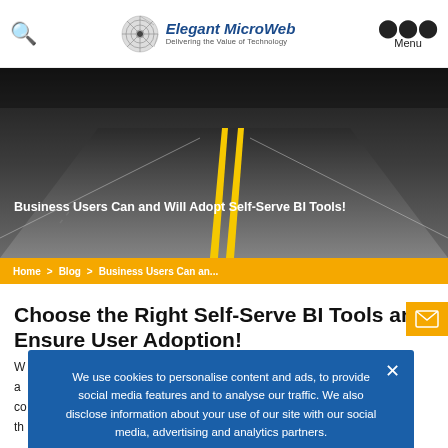Elegant MicroWeb – Delivering the Value of Technology
[Figure (photo): Aerial view of a road with yellow center lines disappearing into the distance, dark asphalt, dramatic perspective]
Business Users Can and Will Adopt Self-Serve BI Tools!
Home > Blog > Business Users Can an...
Choose the Right Self-Serve BI Tools and Ensure User Adoption!
We use cookies to personalise content and ads, to provide social media features and to analyse our traffic. We also disclose information about your use of our site with our social media, advertising and analytics partners.